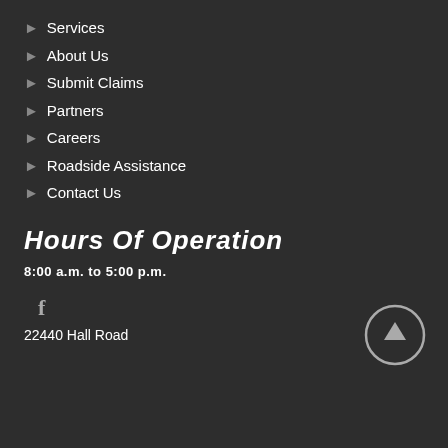Services
About Us
Submit Claims
Partners
Careers
Roadside Assistance
Contact Us
Hours Of Operation
8:00 a.m. to 5:00 p.m.
f
22440 Hall Road